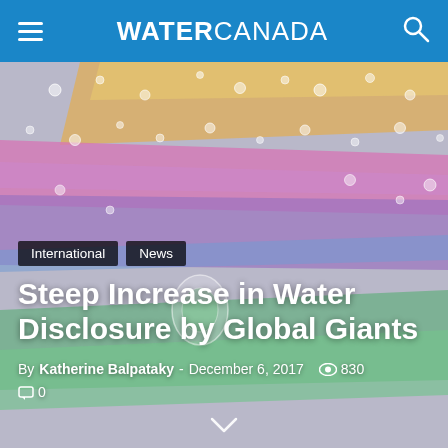WATER CANADA
[Figure (photo): Macro photo of water droplets on colorful iridescent surface with rainbow streaks of pink, purple, green, orange, yellow and blue]
International
News
Steep Increase in Water Disclosure by Global Giants
By Katherine Balpataky - December 6, 2017  830  0